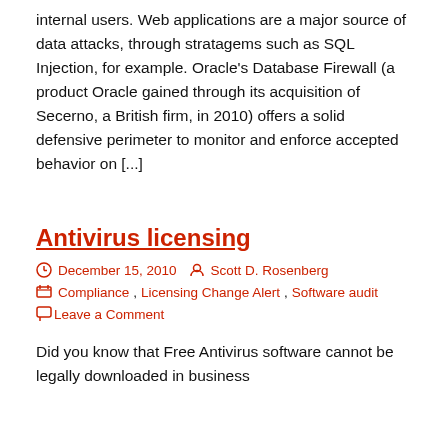internal users. Web applications are a major source of data attacks, through stratagems such as SQL Injection, for example. Oracle's Database Firewall (a product Oracle gained through its acquisition of Secerno, a British firm, in 2010) offers a solid defensive perimeter to monitor and enforce accepted behavior on [...]
Antivirus licensing
December 15, 2010   Scott D. Rosenberg   Compliance, Licensing Change Alert, Software audit   Leave a Comment
Did you know that Free Antivirus software cannot be legally downloaded in business